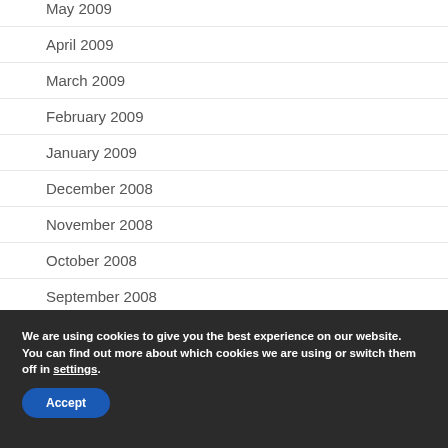May 2009
April 2009
March 2009
February 2009
January 2009
December 2008
November 2008
October 2008
September 2008
August 2008
We are using cookies to give you the best experience on our website.
You can find out more about which cookies we are using or switch them off in settings.
Accept